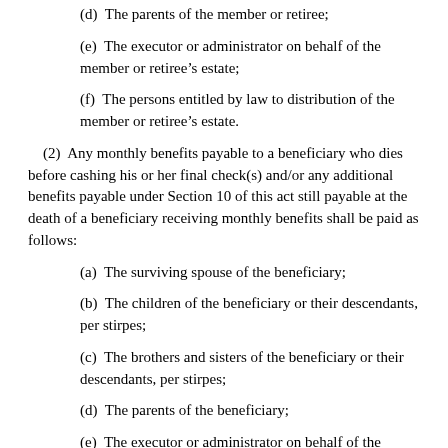(d)  The parents of the member or retiree;
(e)  The executor or administrator on behalf of the member or retiree’s estate;
(f)  The persons entitled by law to distribution of the member or retiree’s estate.
(2)  Any monthly benefits payable to a beneficiary who dies before cashing his or her final check(s) and/or any additional benefits payable under Section 10 of this act still payable at the death of a beneficiary receiving monthly benefits shall be paid as follows:
(a)  The surviving spouse of the beneficiary;
(b)  The children of the beneficiary or their descendants, per stirpes;
(c)  The brothers and sisters of the beneficiary or their descendants, per stirpes;
(d)  The parents of the beneficiary;
(e)  The executor or administrator on behalf of the beneficiary’s estate;